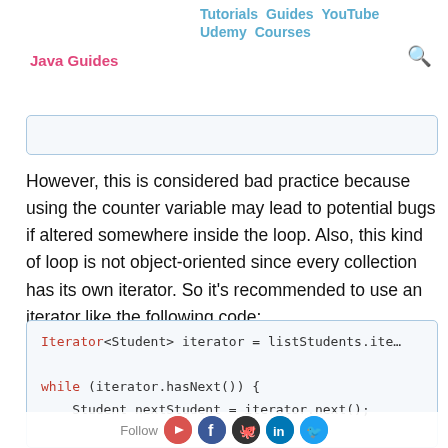Java Guides | Tutorials | Guides | YouTube | Udemy | Courses
However, this is considered bad practice because using the counter variable may lead to potential bugs if altered somewhere inside the loop. Also, this kind of loop is not object-oriented since every collection has its own iterator. So it's recommended to use an iterator like the following code:
[Figure (screenshot): Code box showing: Iterator<Student> iterator = listStudents.iter... while (iterator.hasNext()) { Student nextStudent = iterator.next();]
Follow [YouTube] [Facebook] [GitHub] [LinkedIn] [Twitter]